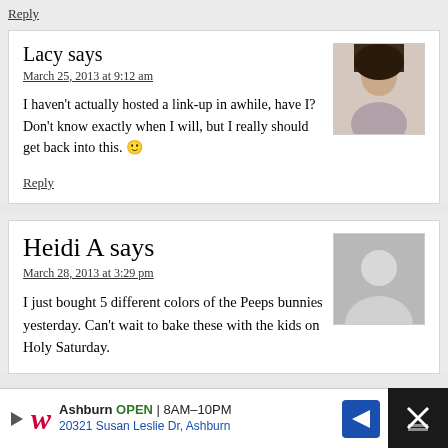Reply
Lacy says
March 25, 2013 at 9:12 am
I haven't actually hosted a link-up in awhile, have I? Don't know exactly when I will, but I really should get back into this. 🙂
Reply
Heidi A says
March 28, 2013 at 3:29 pm
I just bought 5 different colors of the Peeps bunnies yesterday. Can't wait to bake these with the kids on Holy Saturday.
[Figure (photo): Profile photo of Lacy - woman with dark hair]
[Figure (photo): Default avatar placeholder silhouette in gray]
[Figure (other): Walgreens advertisement banner: Ashburn OPEN 8AM-10PM, 20321 Susan Leslie Dr, Ashburn with navigation arrow icon]